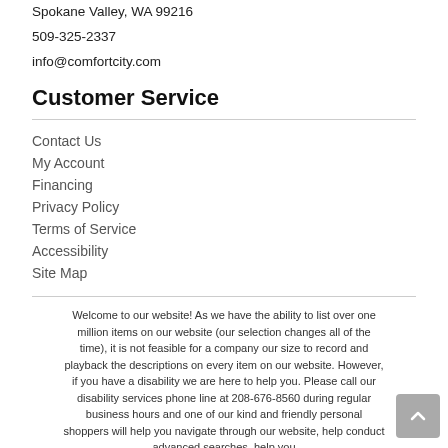Spokane Valley, WA 99216
509-325-2337
info@comfortcity.com
Customer Service
Contact Us
My Account
Financing
Privacy Policy
Terms of Service
Accessibility
Site Map
Welcome to our website! As we have the ability to list over one million items on our website (our selection changes all of the time), it is not feasible for a company our size to record and playback the descriptions on every item on our website. However, if you have a disability we are here to help you. Please call our disability services phone line at 208-676-8560 during regular business hours and one of our kind and friendly personal shoppers will help you navigate through our website, help conduct advanced searches, help you choose the item you are looking for with the specifications you are looking for